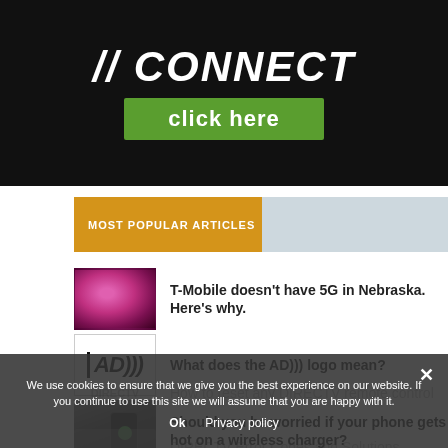[Figure (screenshot): Banner advertisement with dark background showing 'CONNECT' text in bold italic white with slashes, and a green 'click here' button]
MOST POPULAR ARTICLES
T-Mobile doesn't have 5G in Nebraska. Here's why.
What does the AD))) logo mean?
Should you be worried if your phone gets hot on a wireless charger?
We use cookies to ensure that we give you the best experience on our website. If you continue to use this site we will assume that you are happy with it.
Ok  Privacy policy
How to reset any DIRECTV remote control
DIRECTV Error Codes and Solutions